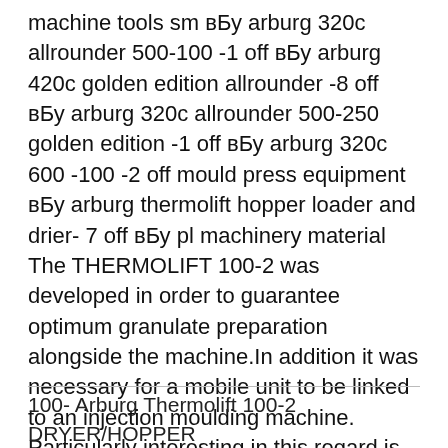machine tools sm вБу arburg 320c allrounder 500-100 -1 off вБу arburg 420c golden edition allrounder -8 off вБу arburg 320c allrounder 500-250 golden edition -1 off вБу arburg 320c 600 -100 -2 off mould press equipment вБу arburg thermolift hopper loader and drier- 7 off вБу pl machinery material The THERMOLIFT 100-2 was developed in order to guarantee optimum granulate preparation alongside the machine.In addition it was necessary for a mobile unit to be linked to an injection moulding machine. Particularly interesting in this regard is the ability to combine drying and conveying in a closed material loop. This ensures that outside influences can no longer have an effect on the
100- Arburg Thermolift 100-2 DRYER/HOPPER